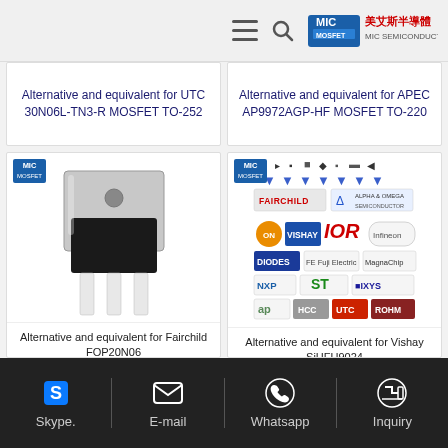MIC MOSFET / MIC Semiconductor - navigation header
[Figure (screenshot): Card: Alternative and equivalent for UTC 30N06L-TN3-R MOSFET TO-252]
[Figure (screenshot): Card: Alternative and equivalent for APEC AP9972AGP-HF MOSFET TO-220]
[Figure (photo): TO-220 MOSFET component photo with MIC MOSFET logo]
Alternative and equivalent for Fairchild FOP20N06
[Figure (infographic): Brand logos grid: Fairchild, Alpha & Omega, ON, Vishay, IOR, Infineon, DIODES, Fuji Electric, MagnaChip, NXP, ST, IXYS, AP, HCC, UTC, ROHM with MIC MOSFET logo]
Alternative and equivalent for Vishay SiHFU9024
Skype. | E-mail | Whatsapp | Inquiry